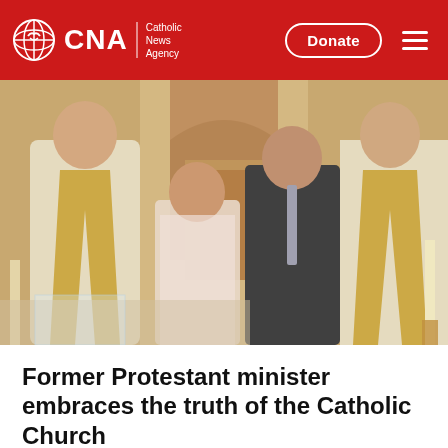CNA | Catholic News Agency | Donate
[Figure (photo): Four people posing together inside a church. Two men wearing white and gold vestments (priests/deacons) stand on the left and right. A woman in a floral cardigan and a man in a black suit with a gray tie stand in the center. They are standing near an altar area with candles visible.]
Former Protestant minister embraces the truth of the Catholic Church
May 7, 2022